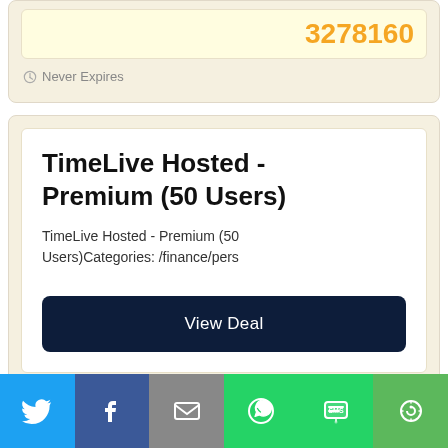3278160
Never Expires
TimeLive Hosted - Premium (50 Users)
TimeLive Hosted - Premium (50 Users)Categories: /finance/pers
View Deal
Never Expires
[Figure (infographic): Social share bar with icons for Twitter, Facebook, Email, WhatsApp, SMS, and More]